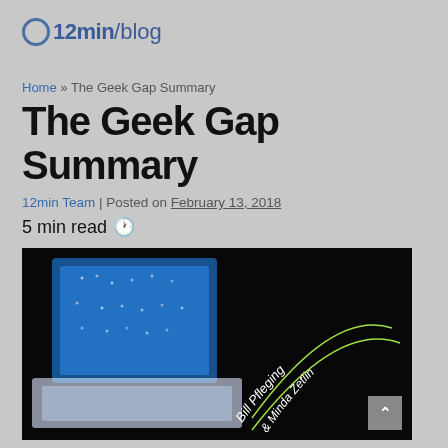o12min/blog
Home » The Geek Gap Summary
The Geek Gap Summary
12min Team | Posted on February 13, 2018
5 min read 🕐
[Figure (photo): Book cover of The Geek Gap by Bill Pfleging & Minda Zetlin, shown as a dark/inverted image with glowing green arc text on black background]